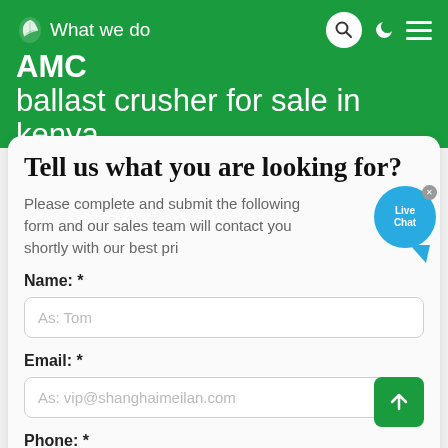What we do AMC ballast crusher for sale in kenya
Tell us what you are looking for?
Please complete and submit the following form and our sales team will contact you shortly with our best pri...
Name: *
As: Tom
Email: *
As: vip@shanghaimeilan.com
Phone: *
With Country Code
The Location of the Project: